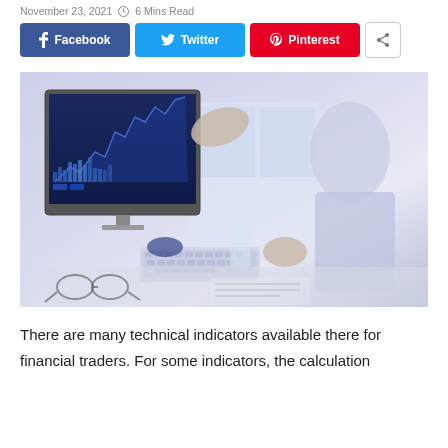November 23, 2021  ⏱ 6 Mins Read
[Figure (photo): Two people at a desk with a computer monitor displaying financial charts; one person points at the screen while another types on a keyboard]
There are many technical indicators available there for financial traders. For some indicators, the calculation